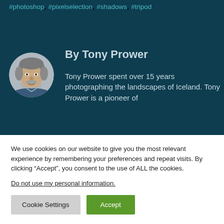#photoshop, #pixelselection, #shadows, #tripod
[Figure (photo): Circular portrait photo of Tony Prower, a man with grey hair and beard, smiling]
By Tony Prower
Tony Prower spent over 15 years photographing the landscapes of Iceland. Tony Prower is a pioneer of
We use cookies on our website to give you the most relevant experience by remembering your preferences and repeat visits. By clicking “Accept”, you consent to the use of ALL the cookies.
Do not use my personal information.
Cookie Settings
Accept